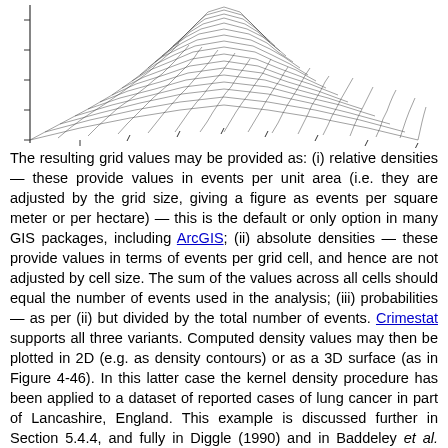[Figure (continuous-plot): 3D surface plot of a kernel density estimation showing a raised peak in the center, rendered as a mesh grid surface, representing lung cancer density in Lancashire, England (Figure 4-46).]
The resulting grid values may be provided as: (i) relative densities — these provide values in events per unit area (i.e. they are adjusted by the grid size, giving a figure as events per square meter or per hectare) — this is the default or only option in many GIS packages, including ArcGIS; (ii) absolute densities — these provide values in terms of events per grid cell, and hence are not adjusted by cell size. The sum of the values across all cells should equal the number of events used in the analysis; (iii) probabilities — as per (ii) but divided by the total number of events. Crimestat supports all three variants. Computed density values may then be plotted in 2D (e.g. as density contours) or as a 3D surface (as in Figure 4-46). In this latter case the kernel density procedure has been applied to a dataset of reported cases of lung cancer in part of Lancashire, England. This example is discussed further in Section 5.4.4, and fully in Diggle (1990) and in Baddeley et al. (2005). The software used in this instance was Crimestat, with a Normal kernel function and